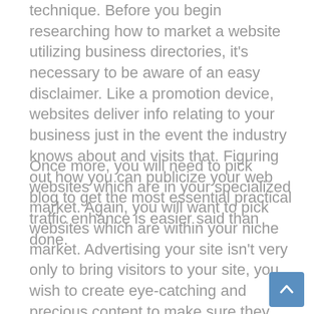technique. Before you begin researching how to market a website utilizing business directories, it's necessary to be aware of an easy disclaimer. Like a promotion device, websites deliver info relating to your business just in the event the industry knows about and visits that. Figuring out how you can publicize your web blog to get the most essential practical traffic enhance is easier said than done.
Once more, you will need to pick websites which are in your specialized market. Again, you will want to pick websites which are within your niche market. Advertising your site isn't very only to bring visitors to your site, you wish to create eye-catching and precious content to make sure they stay for a longer time and more notably arrive lower back regularly. Allow your market understand your site is present. Your website will get maximum strike thereafter. It is crucial that your